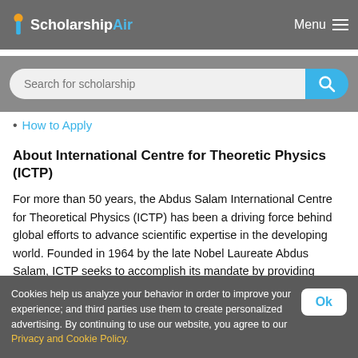ScholarshipAir — Menu
Search for scholarship
How to Apply
About International Centre for Theoretic Physics (ICTP)
For more than 50 years, the Abdus Salam International Centre for Theoretical Physics (ICTP) has been a driving force behind global efforts to advance scientific expertise in the developing world. Founded in 1964 by the late Nobel Laureate Abdus Salam, ICTP seeks to accomplish its mandate by providing scientists from developing countries with the continuing education and skills that they need to enjoy long and productive careers. ICTP has been a major force in stemming the scientific brain drain from the developing world. ICTP alumni serve as
Cookies help us analyze your behavior in order to improve your experience; and third parties use them to create personalized advertising. By continuing to use our website, you agree to our Privacy and Cookie Policy.